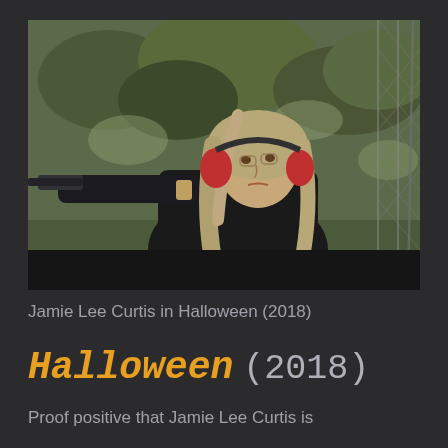[Figure (photo): Jamie Lee Curtis in Halloween (2018) — a woman with long gray-blonde hair wearing black and red ear protection headphones, aiming a pistol/gun forward at a shooting range with a chain-link fence and trees visible in the background.]
Jamie Lee Curtis in Halloween (2018)
Halloween (2018)
Proof positive that Jamie Lee Curtis is